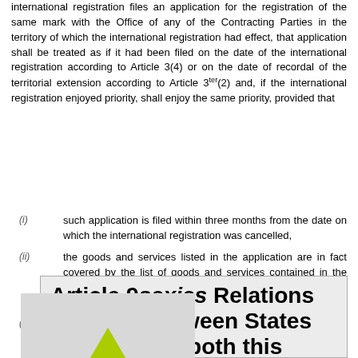international registration files an application for the registration of the same mark with the Office of any of the Contracting Parties in the territory of which the international registration had effect, that application shall be treated as if it had been filed on the date of the international registration according to Article 3(4) or on the date of recordal of the territorial extension according to Article 3ter(2) and, if the international registration enjoyed priority, shall enjoy the same priority, provided that
(i) such application is filed within three months from the date on which the international registration was cancelled,
(ii) the goods and services listed in the application are in fact covered by the list of goods and services contained in the international registration in respect of the Contracting Party concerned, and
(iii) such application complies with all the requirements of the applicable law, including the requirements concerning fees.
[Figure (illustration): Back to top button with green arrow pointing up on grey background, with text BACK TO TOP]
Article 9sexies Relations Between States Party to both this Protocol and the